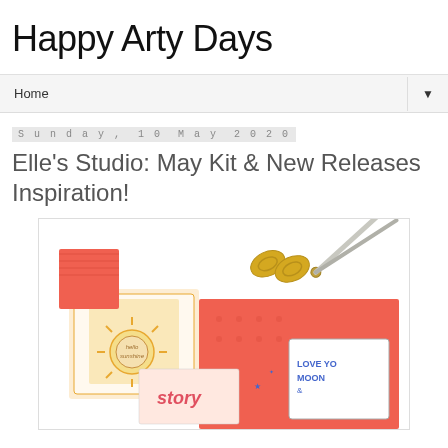Happy Arty Days
Home
Sunday, 10 May 2020
Elle's Studio: May Kit & New Releases Inspiration!
[Figure (photo): Craft supplies flatlay featuring handmade cards with sunshine and love-themed designs, gold scissors, patterned paper in coral/red tones, with text elements 'hello sunshine', 'story', and 'love you moon']